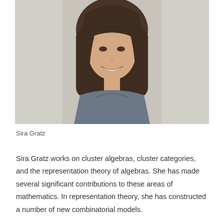[Figure (photo): Headshot photograph of Sira Gratz, a woman with shoulder-length brown hair, smiling, wearing a grey top, against a light grey background.]
Sira Gratz
Sira Gratz works on cluster algebras, cluster categories, and the representation theory of algebras. She has made several significant contributions to these areas of mathematics. In representation theory, she has constructed a number of new combinatorial models.